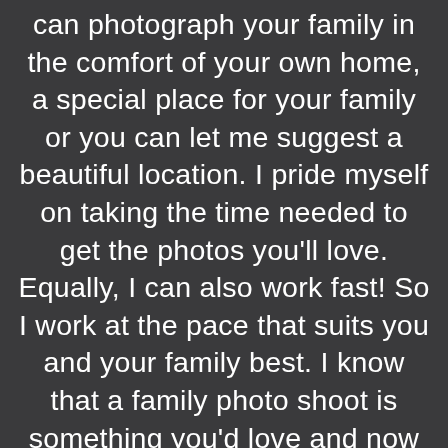can photograph your family in the comfort of your own home, a special place for your family or you can let me suggest a beautiful location. I pride myself on taking the time needed to get the photos you'll love. Equally, I can also work fast! So I work at the pace that suits you and your family best. I know that a family photo shoot is something you'd love and now you've made the smart move to go ahead, you want a hassle free, relaxed experience. So put yourself in my very capable hands and let me get you those family photos you've been longing for.